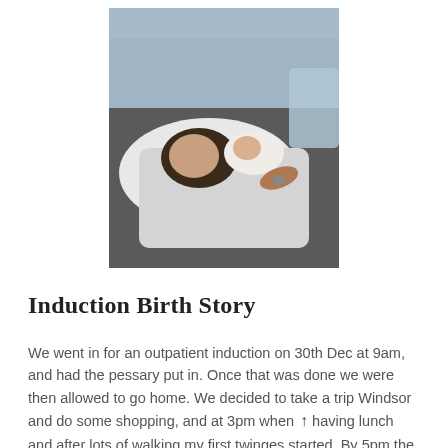[Figure (photo): A person lying in a hospital bed, holding a newborn baby wrapped in a white cloth or hospital blanket. The setting appears to be a hospital room.]
Induction Birth Story
We went in for an outpatient induction on 30th Dec at 9am, and had the pessary put in. Once that was done we were then allowed to go home. We decided to take a trip Windsor and do some shopping, and at 3pm when having lunch and after lots of walking my first twinges started. By 5pm the contractions started and were quiet strong already. At 7pm my pessary came out with loads of my show.